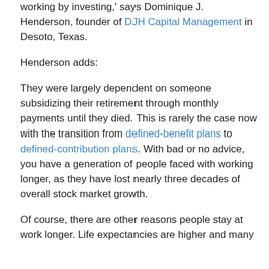working by investing,' says Dominique J. Henderson, founder of DJH Capital Management in Desoto, Texas.
Henderson adds:
They were largely dependent on someone subsidizing their retirement through monthly payments until they died. This is rarely the case now with the transition from defined-benefit plans to defined-contribution plans. With bad or no advice, you have a generation of people faced with working longer, as they have lost nearly three decades of overall stock market growth.
Of course, there are other reasons people stay at work longer. Life expectancies are higher and many